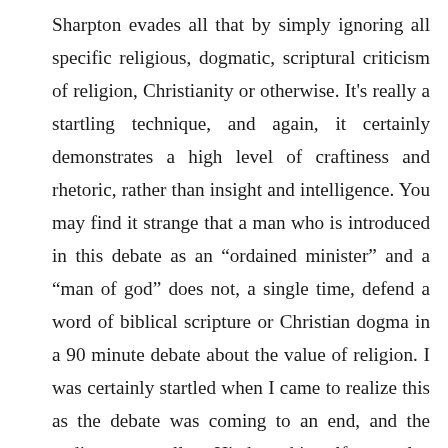Sharpton evades all that by simply ignoring all specific religious, dogmatic, scriptural criticism of religion, Christianity or otherwise. It's really a startling technique, and again, it certainly demonstrates a high level of craftiness and rhetoric, rather than insight and intelligence. You may find it strange that a man who is introduced in this debate as an “ordained minister” and a “man of god” does not, a single time, defend a word of biblical scripture or Christian dogma in a 90 minute debate about the value of religion. I was certainly startled when I came to realize this as the debate was coming to an end, and the audience as well as Hitchens himself were also taken aback. Hitchens even said at the end of the debate that “this is a first” for him, that a man of the cloth would not defend a word or tenet of the